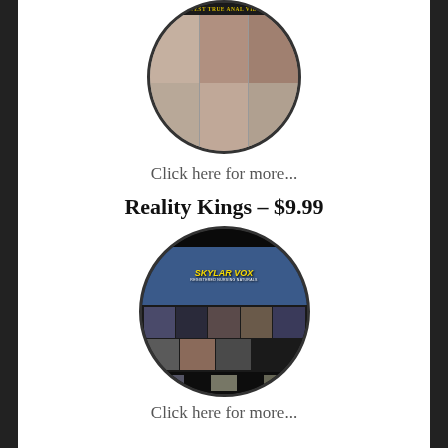[Figure (screenshot): Circular cropped screenshot of an adult website with a dark header bar reading 'LATEST TRUE ANAL VIDEO' and a grid of blurred images below]
Click here for more...
Reality Kings – $9.99
[Figure (screenshot): Circular cropped screenshot of a Reality Kings website page featuring 'SKYLAR VOX' in large yellow italic text with a blue scrubs background image, and a content grid of thumbnails below]
Click here for more...